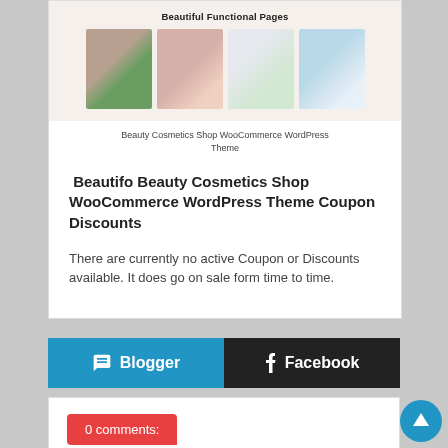[Figure (screenshot): Preview thumbnails of Beauty Cosmetics Shop WooCommerce WordPress Theme pages with heading 'Beautiful Functional Pages']
Beauty Cosmetics Shop WooCommerce WordPress Theme
Beautifo Beauty Cosmetics Shop WooCommerce WordPress Theme Coupon Discounts
There are currently no active Coupon or Discounts available. It does go on sale form time to time.
Blogger  Facebook
0 comments: